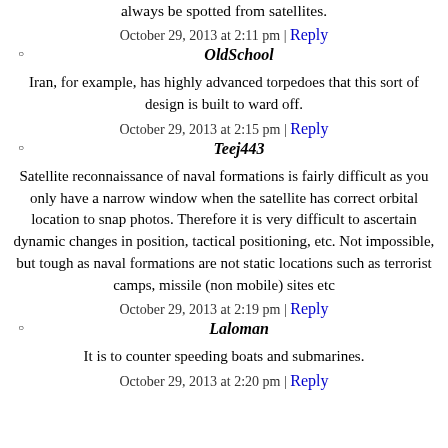always be spotted from satellites.
October 29, 2013 at 2:11 pm | Reply
OldSchool
Iran, for example, has highly advanced torpedoes that this sort of design is built to ward off.
October 29, 2013 at 2:15 pm | Reply
Teej443
Satellite reconnaissance of naval formations is fairly difficult as you only have a narrow window when the satellite has correct orbital location to snap photos. Therefore it is very difficult to ascertain dynamic changes in position, tactical positioning, etc. Not impossible, but tough as naval formations are not static locations such as terrorist camps, missile (non mobile) sites etc
October 29, 2013 at 2:19 pm | Reply
Laloman
It is to counter speeding boats and submarines.
October 29, 2013 at 2:20 pm | Reply